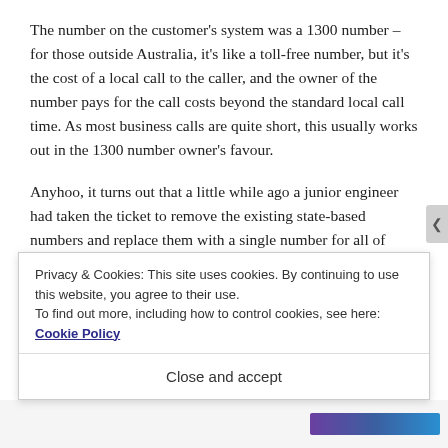The number on the customer’s system was a 1300 number – for those outside Australia, it’s like a toll-free number, but it’s the cost of a local call to the caller, and the owner of the number pays for the call costs beyond the standard local call time. As most business calls are quite short, this usually works out in the 1300 number owner’s favour.
Anyhoo, it turns out that a little while ago a junior engineer had taken the ticket to remove the existing state-based numbers and replace them with a single number for all of Australia. He created a new conference region for the new number and attached it to the Global dial plan. He then changed the region for the 1300 number from “Sydney”
Privacy & Cookies: This site uses cookies. By continuing to use this website, you agree to their use.
To find out more, including how to control cookies, see here: Cookie Policy
Close and accept